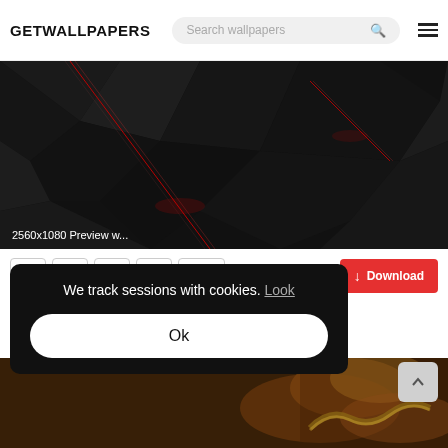GETWALLPAPERS
[Figure (screenshot): Dark abstract low-poly wallpaper with red glowing diagonal lines on black geometric polygonal shapes. Label: 2560x1080 Preview w...]
2560x1080 Preview w...
[Figure (infographic): Action bar with Facebook, Pinterest, Twitter, Flag share buttons, heart/like button showing 3 likes, and a red Download button]
We track sessions with cookies. Look
Ok
[Figure (photo): Bottom thumbnail showing fantasy or nature scene with warm golden/orange tones]